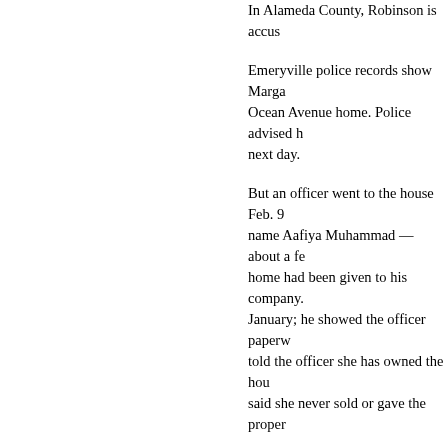In Alameda County, Robinson is accus...
Emeryville police records show Marga... Ocean Avenue home. Police advised h... next day.
But an officer went to the house Feb. 9... name Aafiya Muhammad — about a fe... home had been given to his company. January; he showed the officer paperw... told the officer she has owned the hou... said she never sold or gave the proper...
The officer later contacted the Alameda... copy of the report so it could look into t...
Espinoza sued Robinson on March 15... claims Robinson served her Jan. 19 wi... violence."
Robinson had filed with the county a n... transferring the property to ABM Enter... with a Jan. 12 grant deed. That same d... American Title Insurance Co. as the tru... Corp. — as the beneficiary, or lender. R... again to another of his businesses. Be...